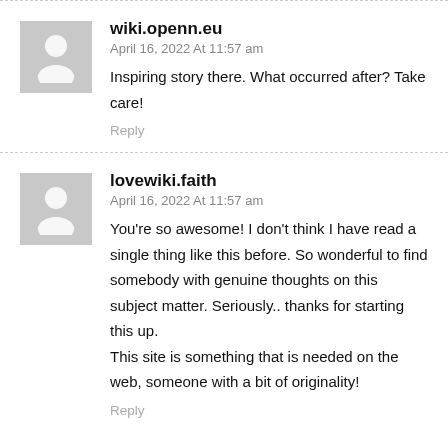wiki.openn.eu
April 16, 2022 At 11:57 am
Inspiring story there. What occurred after? Take care!
Reply
lovewiki.faith
April 16, 2022 At 11:57 am
You're so awesome! I don't think I have read a single thing like this before. So wonderful to find somebody with genuine thoughts on this subject matter. Seriously.. thanks for starting this up. This site is something that is needed on the web, someone with a bit of originality!
Reply